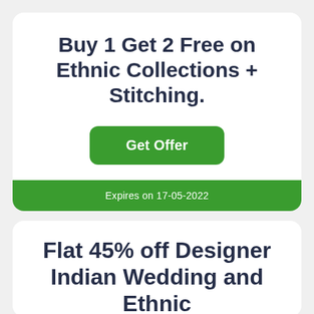Buy 1 Get 2 Free on Ethnic Collections + Stitching.
Get Offer
Expires on 17-05-2022
Flat 45% off Designer Indian Wedding and Ethnic